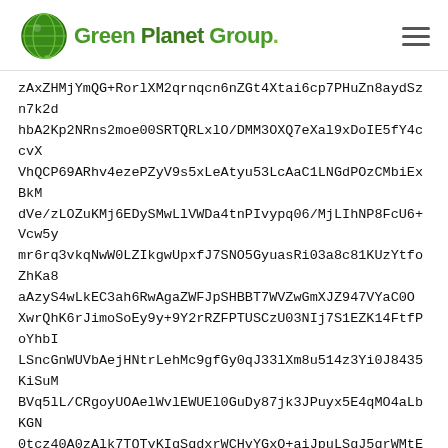Green Planet Group
zAxZHMjYmQG+RorlXM2qrnqcn6nZGt4Xtai6cp7PHuZn8aydSzn7k2d
hbA2Kp2NRns2moe00SRTQRLxlO/DMM3OXQ7eXal9xDoIE5fY4ccvX
VhQCP69ARhv4ezePZyV9s5xLeAtyu53LcAaC1LNGdPOzCMbiExBkM
dVe/zLOZuKMj6EDySMwLlVWDa4tnPIvypq06/MjLIhNP8FcU6+Vcw5y
mr6rq3vkqNwW0LZIkgwUpxfJ7SNO5GyuasRi03a8c81KUzYtfoZhKa8
aAzyS4wLkEC3ah6RwAgaZWFJpSHBBT7WVZwGmXJZ947VYaC0O
XwrQhK6rJimoSoEy9y+9Y2rRZFPTUSCzU03NIj7S1EZK14FtfPoYhbI
LSncGnWUVbAejHNtrLehMc9gfGy0qJ33lXm8u514z3Yi0J8435KiSuM
BVq5lL/CRgoyUOAelWvlEWUEl0GuDy87jk3JPuyx5E4qMO4aLbKGN
0tcz40A0zAlk7TQTyKIgSqdxrWCHyYGxO+aiJpuLSgJ5qrWMtEcai0X4
LEmodJO0ZqR4qsuiHW+PBzgd9L7fyWH7Dj+RQZYf5HscGgexdIYOR
z0mqPEgPs7DfMFUcBUq65zXVLvECSeUri+738+CkXMK/ooC78sGrc
HdXtZzuOZJBmXrZ3lD6erPTse0/Ueov4SLW3KS+v/oFR0sViQbETKlZ
Gp91wgS2ZcnBGpiGgJlY8ZubCp3l3VxqM80SvsBR5VL8PkP7wWC4
nr22/X2qG4dxoLeEPlV1YwjG89cW1fslZRTEWzL/AjJEvxKzn/7zNC2M
iDBll4iM3765/cMeZdWTIRWkF1pJ0gkaO85wrMbalBTsn7H/eyYPPUb
cOCgoQVEJarXYiRvx+B+jIfp6U9XOMtXAW7jYYj3jautS5+aKhUHqX5
w8vu9bGxJsduU35Bq6fYp8Nrr2JJejac5BQb2PR9RNOHL7U5iDvyES
eGhaNBMnUZAfULUd/U+m6r+GiC0/NaC3iY9TfYdyUP1VgerbBxkYj5
dCvRrTCv7D05JM9FVaODNunsbfEDp2kpZUbJSzUE9WIwtC4Q3+BM
XEffrSpzTzyvYHE69PRwpKLh2tVbcvBlkkZmaTTiDZDce41URkmQJe
nvEa7WXnPR4cuBhCNPIqeO/WBV6aKHGUXytuG2tM4sIXPAchBNJF
fn+016ukOYZhzrJ/6/OomgN2mABZOoMUnktfpsEW85jmEF0rhiloRvll
rJ8MKCBrR7kr4CwrfUEE4qTRus/CpR1Rh878NJOrslRROqv4Cq5F